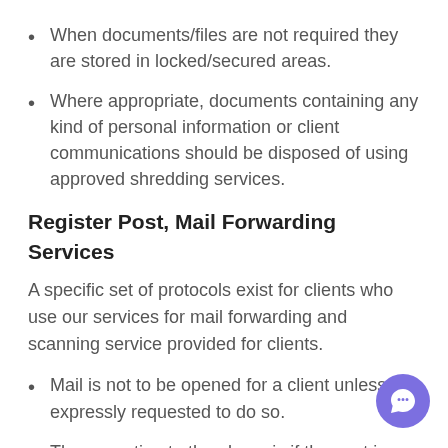When documents/files are not required they are stored in locked/secured areas.
Where appropriate, documents containing any kind of personal information or client communications should be disposed of using approved shredding services.
Register Post, Mail Forwarding Services
A specific set of protocols exist for clients who use our services for mail forwarding and scanning service provided for clients.
Mail is not to be opened for a client unless expressly requested to do so.
The exception to the above is if the post is